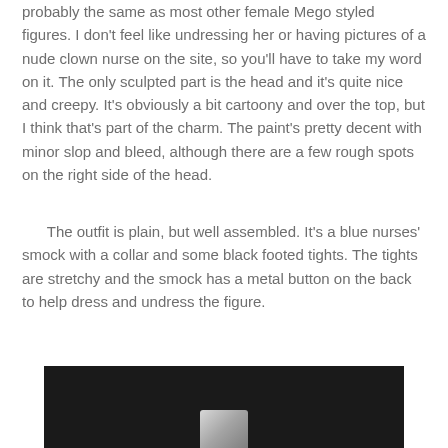probably the same as most other female Mego styled figures. I don't feel like undressing her or having pictures of a nude clown nurse on the site, so you'll have to take my word on it. The only sculpted part is the head and it's quite nice and creepy. It's obviously a bit cartoony and over the top, but I think that's part of the charm. The paint's pretty decent with minor slop and bleed, although there are a few rough spots on the right side of the head.
The outfit is plain, but well assembled. It's a blue nurses' smock with a collar and some black footed tights. The tights are stretchy and the smock has a metal button on the back to help dress and undress the figure.
[Figure (photo): A dark/black background photograph showing what appears to be a small white or light-colored object (possibly a figure or garment detail) at the bottom center of the frame. The image is cropped showing only the top portion.]